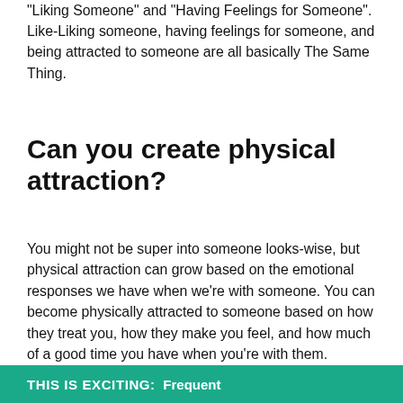“Liking Someone” and “Having Feelings for Someone”. Like-Liking someone, having feelings for someone, and being attracted to someone are all basically The Same Thing.
Can you create physical attraction?
You might not be super into someone looks-wise, but physical attraction can grow based on the emotional responses we have when we’re with someone. You can become physically attracted to someone based on how they treat you, how they make you feel, and how much of a good time you have when you’re with them.
THIS IS EXCITING: Frequent